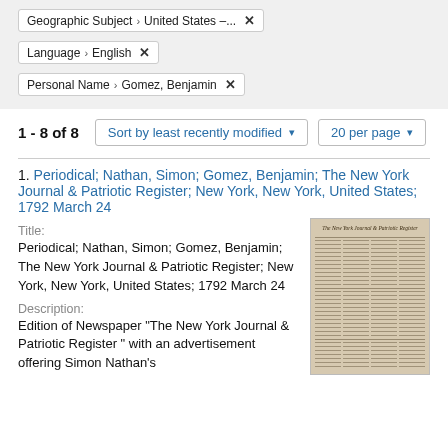Geographic Subject › United States –... ✕
Language › English ✕
Personal Name › Gomez, Benjamin ✕
1 - 8 of 8
Sort by least recently modified ▾
20 per page ▾
1. Periodical; Nathan, Simon; Gomez, Benjamin; The New York Journal & Patriotic Register; New York, New York, United States; 1792 March 24
Title:
Periodical; Nathan, Simon; Gomez, Benjamin; The New York Journal & Patriotic Register; New York, New York, United States; 1792 March 24
Description:
Edition of Newspaper "The New York Journal & Patriotic Register " with an advertisement offering Simon Nathan's
[Figure (photo): Thumbnail image of an old newspaper page - The New York Journal & Patriotic Register]